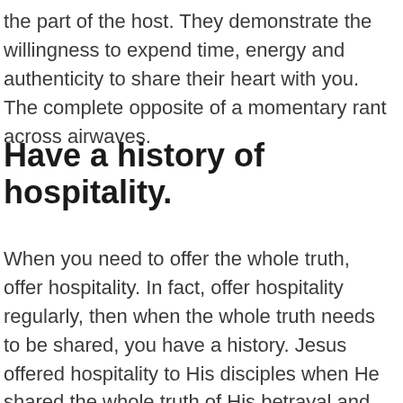the part of the host. They demonstrate the willingness to expend time, energy and authenticity to share their heart with you. The complete opposite of a momentary rant across airwaves.
Have a history of hospitality.
When you need to offer the whole truth, offer hospitality. In fact, offer hospitality regularly, then when the whole truth needs to be shared, you have a history. Jesus offered hospitality to His disciples when He shared the whole truth of His betrayal and death. Priscilla and Aquila could have approached Apollos in the middle of the synagogue and set the record straight with him then and